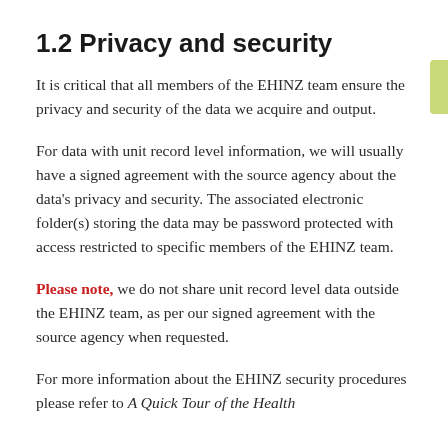1.2 Privacy and security
It is critical that all members of the EHINZ team ensure the privacy and security of the data we acquire and output.
For data with unit record level information, we will usually have a signed agreement with the source agency about the data's privacy and security. The associated electronic folder(s) storing the data may be password protected with access restricted to specific members of the EHINZ team.
Please note, we do not share unit record level data outside the EHINZ team, as per our signed agreement with the source agency when requested.
For more information about the EHINZ security procedures please refer to A Quick Tour of the Health